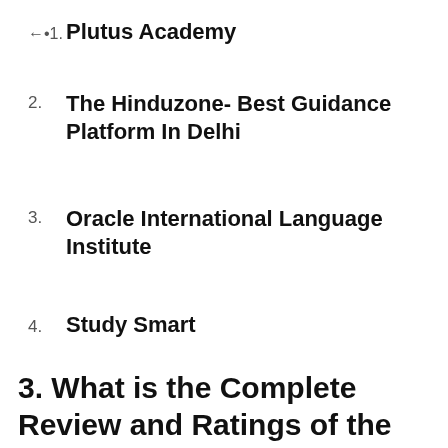1. Plutus Academy
2. The Hinduzone- Best Guidance Platform In Delhi
3. Oracle International Language Institute
4. Study Smart
3. What is the Complete Review and Ratings of the Fateh Education